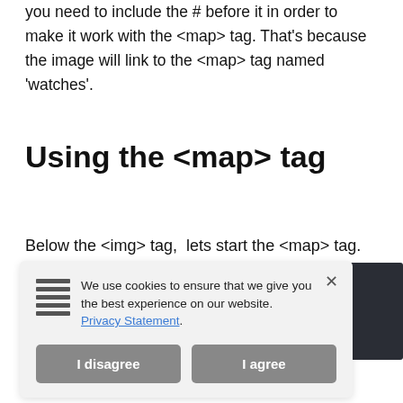you need to include the # before it in order to make it work with the <map> tag. That's because the image will link to the <map> tag named 'watches'.
Using the <map> tag
Below the <img> tag, lets start the <map> tag.
[Figure (screenshot): Cookie consent popup with 'I disagree' and 'I agree' buttons, privacy statement link, and a close (X) button. Partially overlaying a dark image/box in the background.]
to be the same as the usemap attribute we've